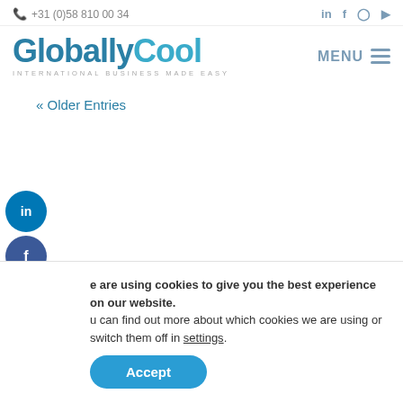+31 (0)58 810 00 34
[Figure (logo): GloballyCool logo — INTERNATIONAL BUSINESS MADE EASY]
MENU
« Older Entries
[Figure (illustration): LinkedIn circular side button]
[Figure (illustration): Facebook circular side button]
[Figure (illustration): WhatsApp circular side button]
[Figure (illustration): Email circular side button]
MEET OUR CLIENTS
e are using cookies to give you the best experience on our website.
u can find out more about which cookies we are using or switch them off in settings.
Accept